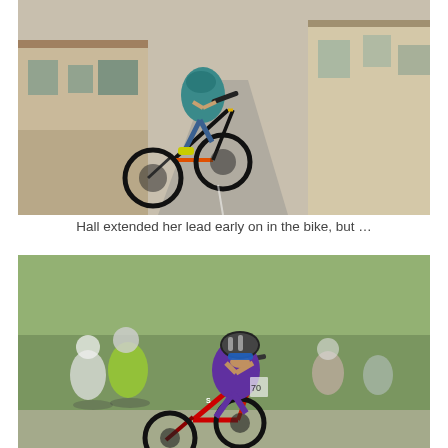[Figure (photo): A triathlete on a black, orange and red Cervelo road bike cycling through a narrow village street with stone buildings. The rider is in an aerodynamic position wearing a teal and blue kit with yellow cycling shoes.]
Hall extended her lead early on in the bike, but …
[Figure (photo): A group of triathletes on bikes in a peloton. The foreground rider wears a black/white helmet, blue sunglasses, and a purple triathlon suit on a red Specialized bike. Other riders in yellow-green and white kits follow behind on a tree-lined road.]